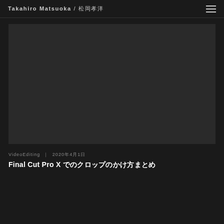Takahiro Matsuoka / 松岡孝洋
[Figure (screenshot): Dark screenshot or thumbnail image area with black/dark gray background]
VideoEditing | 2020年4月1日
Final Cut Pro X でのクロップのかけ方まとめ